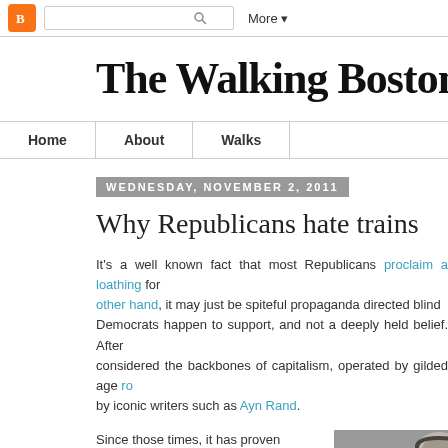Blogger navigation bar with search and More button
The Walking Bostonian
Home | About | Walks
WEDNESDAY, NOVEMBER 2, 2011
Why Republicans hate trains
It's a well known fact that most Republicans proclaim a loathing for other hand, it may just be spiteful propaganda directed blind Democrats happen to support, and not a deeply held belief. After considered the backbones of capitalism, operated by gilded age ro by iconic writers such as Ayn Rand.
Since those times, it has proven nearly impossible to run a
[Figure (photo): Black and white photo of a person wearing headphones]